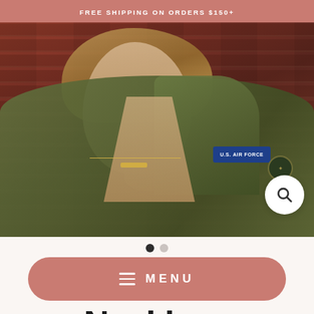FREE SHIPPING ON ORDERS $150+
[Figure (photo): Woman wearing a U.S. Air Force green military jacket and a gold bar necklace, posed against a brick wall background. A search icon circle is visible in the lower right.]
• •
≡ MENU
Necklace